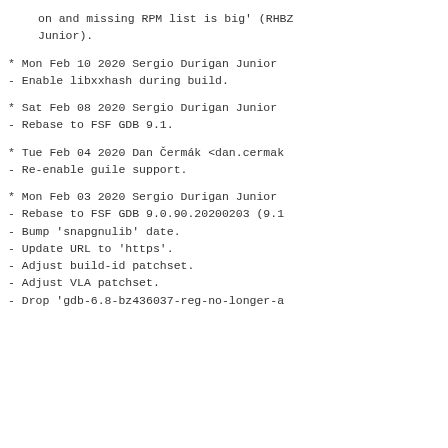on and missing RPM list is big' (RHBZ Junior).
* Mon Feb 10 2020 Sergio Durigan Junior
- Enable libxxhash during build.
* Sat Feb 08 2020 Sergio Durigan Junior
- Rebase to FSF GDB 9.1.
* Tue Feb 04 2020 Dan Čermák <dan.cermak
- Re-enable guile support.
* Mon Feb 03 2020 Sergio Durigan Junior
- Rebase to FSF GDB 9.0.90.20200203 (9.1
- Bump 'snapgnulib' date.
- Update URL to 'https'.
- Adjust build-id patchset.
- Adjust VLA patchset.
- Drop 'gdb-6.8-bz436037-reg-no-longer-a